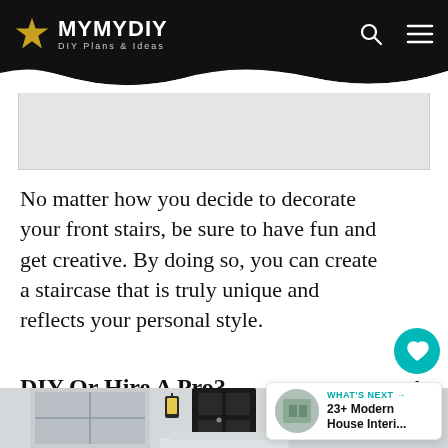MYMYDIY DIY Plans & Ideas
[Figure (screenshot): Light grey advertisement/image placeholder rectangle]
No matter how you decide to decorate your front stairs, be sure to have fun and get creative. By doing so, you can create a staircase that is truly unique and reflects your personal style.
DIY Or Hire A Pro?
[Figure (photo): Partial view of a house exterior with a black front door and wall-mounted lantern lights; white siding visible]
WHAT'S NEXT → 23+ Modern House Interi...